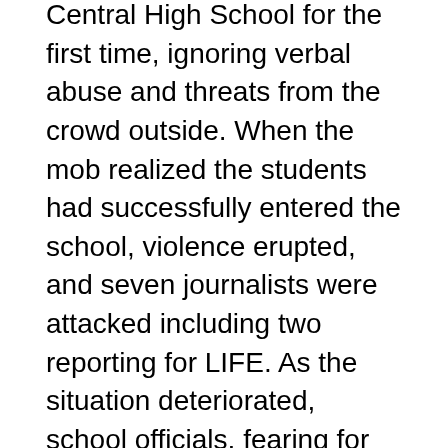Central High School for the first time, ignoring verbal abuse and threats from the crowd outside. When the mob realized the students had successfully entered the school, violence erupted, and seven journalists were attacked including two reporting for LIFE. As the situation deteriorated, school officials, fearing for the students' safety, dismissed the Little Rock Nine at lunchtime.
The next day, President Eisenhower ordered paratroopers from the 101st Airborne Division to the school, escorting students to the building and singling out troublemakers bent on disrupting the federal mandate. Over the following days, these troops and members of the Arkansas National Guard Eisenhower had federalized 10,000 guardsman, effectively taking them out from under